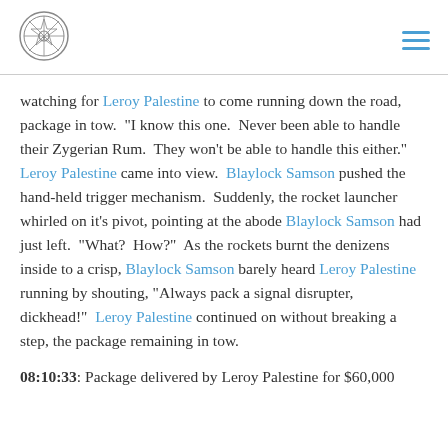[Logo] [Hamburger menu]
watching for Leroy Palestine to come running down the road, package in tow.  "I know this one.  Never been able to handle their Zygerian Rum.  They won't be able to handle this either."  Leroy Palestine came into view.  Blaylock Samson pushed the hand-held trigger mechanism.  Suddenly, the rocket launcher whirled on it's pivot, pointing at the abode Blaylock Samson had just left.  "What?  How?"  As the rockets burnt the denizens inside to a crisp, Blaylock Samson barely heard Leroy Palestine running by shouting, "Always pack a signal disrupter, dickhead!"  Leroy Palestine continued on without breaking a step, the package remaining in tow.
08:10:33: Package delivered by Leroy Palestine for $60,000